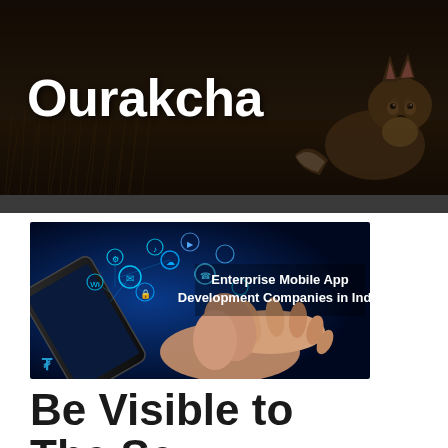Ourakcha
[Figure (photo): Enterprise Mobile App Development Companies in India — hands touching a tablet with glowing app icons floating around it, dark blue background with a small gold logo in the bottom left corner]
Be Visible to The Se...